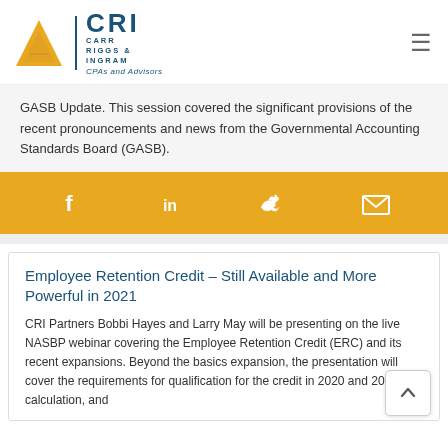[Figure (logo): CRI - Carr Riggs & Ingram CPAs and Advisors logo with gold triangle and dark blue text]
GASB Update. This session covered the significant provisions of the recent pronouncements and news from the Governmental Accounting Standards Board (GASB).
[Figure (infographic): Gold social sharing bar with Facebook, LinkedIn, Twitter, and email icons in white]
Employee Retention Credit – Still Available and More Powerful in 2021
CRI Partners Bobbi Hayes and Larry May will be presenting on the live NASBP webinar covering the Employee Retention Credit (ERC) and its recent expansions. Beyond the basics expansion, the presentation will cover the requirements for qualification for the credit in 2020 and 2021, calculation, and